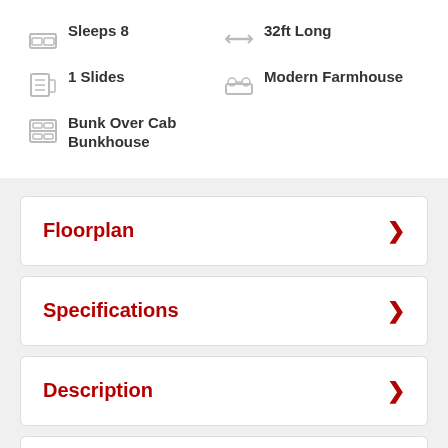Sleeps 8
32ft Long
1 Slides
Modern Farmhouse
Bunk Over Cab Bunkhouse
Floorplan
Specifications
Description
Features